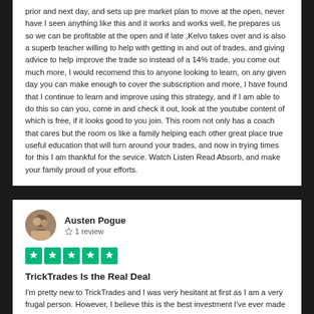prior and next day, and sets up pre market plan to move at the open, never have I seen anything like this and it works and works well, he prepares us so we can be profitable at the open and if late ,Kelvo takes over and is also a superb teacher willing to help with getting in and out of trades, and giving advice to help improve the trade so instead of a 14% trade, you come out much more, I would recomend this to anyone looking to learn, on any given day you can make enough to cover the subscription and more, I have found that I continue to learn and improve using this strategy, and if I am able to do this so can you, come in and check it out, look at the youtube content of which is free, if it looks good to you join. This room not only has a coach that cares but the room os like a family helping each other great place true useful education that will turn around your trades, and now in trying times for this I am thankful for the sevice. Watch Listen Read Absorb, and make your family proud of your efforts.
Austen Pogue
1 review
[Figure (other): Five green Trustpilot star rating boxes]
TrickTrades Is the Real Deal
I'm pretty new to TrickTrades and I was very hesitant at first as I am a very frugal person. However, I believe this is the best investment I've ever made in myself. Pat is the real deal. He is full of passion and cares about the success of the members. I've never been this consistent trading and it is just the beginning of my journey. I truly believe TrickTrades is my ticket to freedom from a 9-5. It sounds unbelievable, until you give it a chance and see the strategy work day after day.